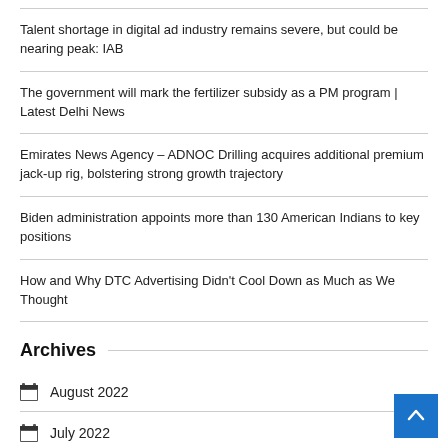Talent shortage in digital ad industry remains severe, but could be nearing peak: IAB
The government will mark the fertilizer subsidy as a PM program | Latest Delhi News
Emirates News Agency – ADNOC Drilling acquires additional premium jack-up rig, bolstering strong growth trajectory
Biden administration appoints more than 130 American Indians to key positions
How and Why DTC Advertising Didn't Cool Down as Much as We Thought
Archives
August 2022
July 2022